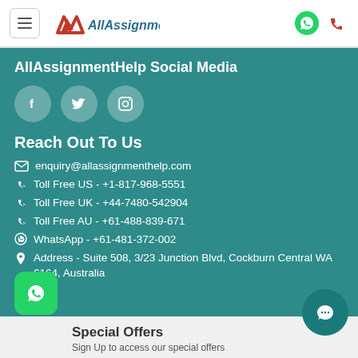AllAssignmentHelp
AllAssignmentHelp Social Media
[Figure (illustration): Three social media icon circles: Facebook, Twitter, Instagram]
Reach Out To Us
enquiry@allassignmenthelp.com
Toll Free US - +1-817-968-5551
Toll Free UK - +44-7480-542904
Toll Free AU - +61-488-839-671
WhatsApp - +61-481-372-002
Address - Suite 508, 3/23 Junction Blvd, Cockburn Central WA 6164, Australia
Special Offers
Sign Up to access our special offers